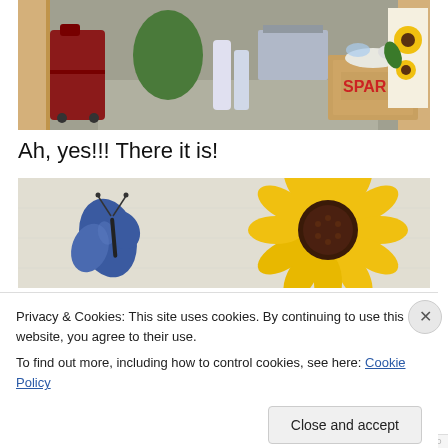[Figure (photo): A storage room or closet with a red suitcase, green bag, cleaning products, a SPAR cardboard box filled with items, and a decorative panel with sunflowers.]
Ah, yes!!! There it is!
[Figure (photo): Close-up of a white fabric/textile with a large yellow sunflower print and a blue butterfly on the left side.]
Privacy & Cookies: This site uses cookies. By continuing to use this website, you agree to their use.
To find out more, including how to control cookies, see here: Cookie Policy
Close and accept